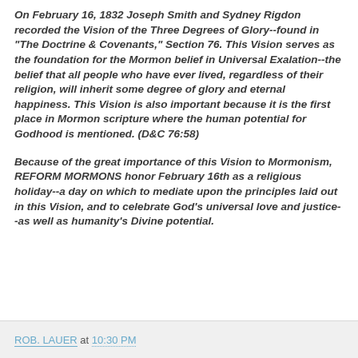On February 16, 1832 Joseph Smith and Sydney Rigdon recorded the Vision of the Three Degrees of Glory--found in "The Doctrine & Covenants," Section 76. This Vision serves as the foundation for the Mormon belief in Universal Exalation--the belief that all people who have ever lived, regardless of their religion, will inherit some degree of glory and eternal happiness. This Vision is also important because it is the first place in Mormon scripture where the human potential for Godhood is mentioned. (D&C 76:58)
Because of the great importance of this Vision to Mormonism, REFORM MORMONS honor February 16th as a religious holiday--a day on which to mediate upon the principles laid out in this Vision, and to celebrate God's universal love and justice--as well as humanity's Divine potential.
ROB. LAUER at 10:30 PM